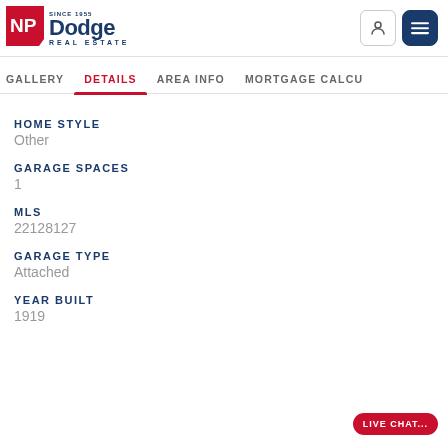[Figure (logo): NP Dodge Real Estate logo — red rectangle with NP in white, 'Dodge' in dark blue bold, 'SINCE 1855' and 'REAL ESTATE' text]
GALLERY  DETAILS  AREA INFO  MORTGAGE CALCU
HOME STYLE
Other
GARAGE SPACES
1
MLS
22128127
GARAGE TYPE
Attached
YEAR BUILT
1919